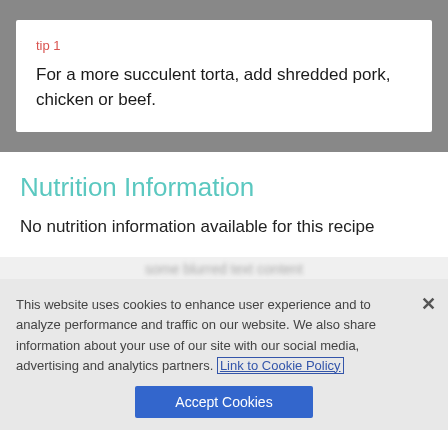tip 1
For a more succulent torta, add shredded pork, chicken or beef.
Nutrition Information
No nutrition information available for this recipe
This website uses cookies to enhance user experience and to analyze performance and traffic on our website. We also share information about your use of our site with our social media, advertising and analytics partners. Link to Cookie Policy